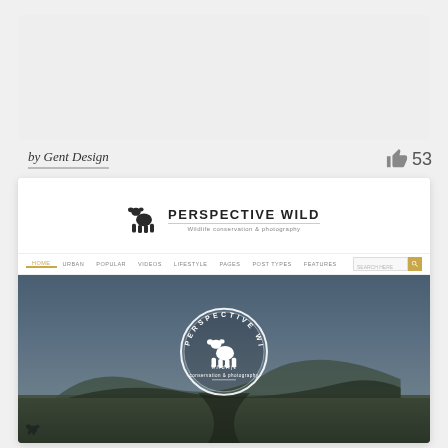[Figure (screenshot): Top gray placeholder bar representing a cropped UI element]
by Gent Design
53
[Figure (screenshot): Website preview of 'Perspective Wild - Wildlife conservation & photography' showing logo, navigation bar with HOME, URBAN, POPULAR, VIDEOS, LIFESTYLE, PAGES, POST TYPES, FEATURES, and a dark hero image with circular Perspective Wild badge logo overlaid on a moody landscape with road]